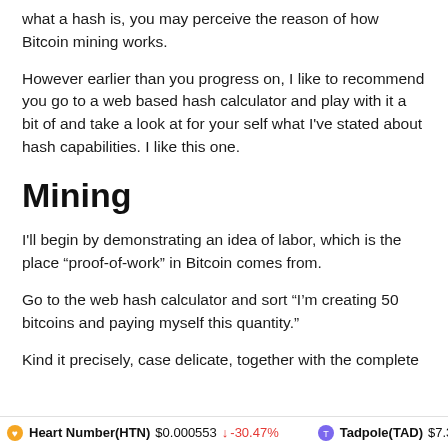what a hash is, you may perceive the reason of how Bitcoin mining works.
However earlier than you progress on, I like to recommend you go to a web based hash calculator and play with it a bit of and take a look at for your self what I've stated about hash capabilities. I like this one.
Mining
I'll begin by demonstrating an idea of labor, which is the place “proof-of-work” in Bitcoin comes from.
Go to the web hash calculator and sort “I’m creating 50 bitcoins and paying myself this quantity.”
Kind it precisely, case delicate, together with the complete
Heart Number(HTN) $0.000553 ↓ -30.47%    Tadpole(TAD) $7.3...